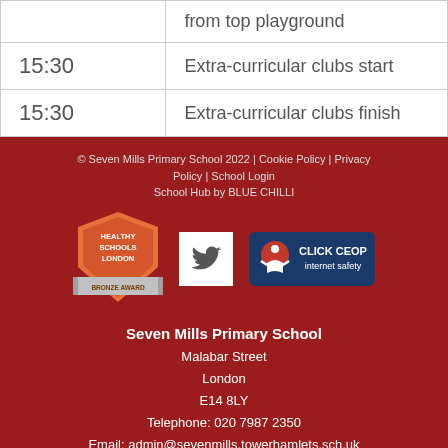|  |  |
| --- | --- |
|  | from top playground |
| 15:30 | Extra-curricular clubs start |
| 15:30 | Extra-curricular clubs finish |
© Seven Mills Primary School 2022 | Cookie Policy | Privacy Policy | School Login
School Hub by BLUE CHILLI
[Figure (logo): Healthy Schools London Bronze Award badge]
[Figure (logo): Twitter bird icon in white square]
[Figure (logo): Click CEOP internet safety button]
Seven Mills Primary School
Malabar Street
London
E14 8LY
Telephone: 020 7987 2350
Email: admin@sevenmills.towerhamlets.sch.uk